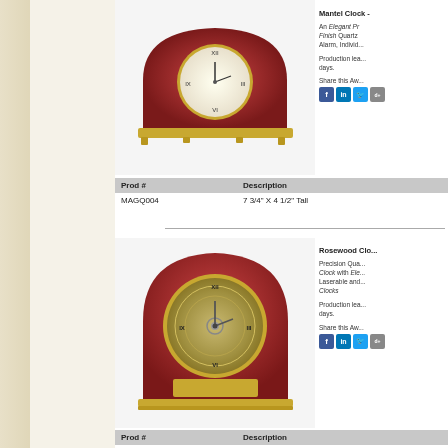[Figure (photo): Mantel clock with rosewood piano finish, gold trim base, white clock face with roman numerals]
Mantel Clock -
An Elegant Pr... Finish Quartz... Alarm, Individ...
Production lea... days.
Share this Aw...
| Prod # | Description |
| --- | --- |
| MAGQ004 | 7 3/4" X 4 1/2" Tall |
[Figure (photo): Rosewood arch clock with gold trim, skeleton clock face showing movement, brass nameplate]
Rosewood Clo...
Precision Qua... Clock with Ele... Laserable and... Clocks
Production lea... days.
Share this Aw...
| Prod # | Description |
| --- | --- |
| MAGRWS62 | 8" Wide X 10 1/2" Tall |